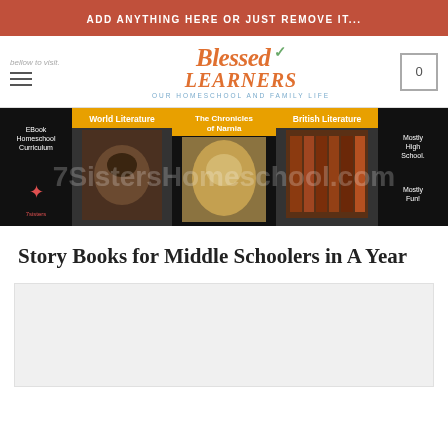ADD ANYTHING HERE OR JUST REMOVE IT...
[Figure (logo): Blessed Learners logo with text 'OUR HOMESCHOOL AND FAMILY LIFE']
[Figure (screenshot): 7SistersHomeschool.com advertisement banner showing World Literature, The Chronicles of Narnia, and British Literature EBook Homeschool Curriculum]
Story Books for Middle Schoolers in A Year
[Figure (photo): Content image placeholder area (light gray)]